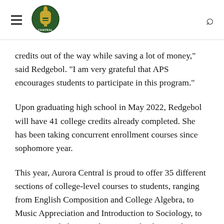Aurora Central High School — navigation header with logo, hamburger menu, and search icon
credits out of the way while saving a lot of money," said Redgebol. "I am very grateful that APS encourages students to participate in this program."
Upon graduating high school in May 2022, Redgebol will have 41 college credits already completed. She has been taking concurrent enrollment courses since sophomore year.
This year, Aurora Central is proud to offer 35 different sections of college-level courses to students, ranging from English Composition and College Algebra, to Music Appreciation and Introduction to Sociology, to ceramics and photography. Across the district, there are 131 sections of concurrent enrollment courses available to high school students, and more are expected to be added.
One of the goals of the APS 2026: Faces of the Future